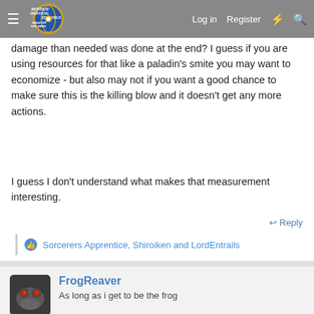Morrus' Unofficial Tabletop RPG News — Log in | Register
damage than needed was done at the end? I guess if you are using resources for that like a paladin's smite you may want to economize - but also may not if you want a good chance to make sure this is the killing blow and it doesn't get any more actions.
I guess I don't understand what makes that measurement interesting.
↩ Reply
Sorcerers Apprentice, Shiroiken and LordEntrails
FrogReaver
As long as i get to be the frog